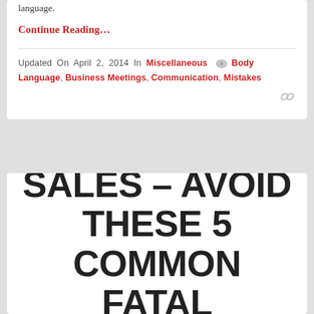language.
Continue Reading…
Updated On April 2, 2014 In Miscellaneous   Body Language, Business Meetings, Communication, Mistakes
SUCCESS IN SALES – AVOID THESE 5 COMMON FATAL MISTAKES